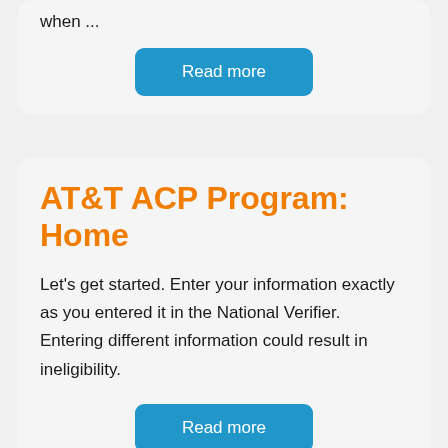when ...
Read more
AT&T ACP Program: Home
Let’s get started. Enter your information exactly as you entered it in the National Verifier. Entering different information could result in ineligibility.
Read more